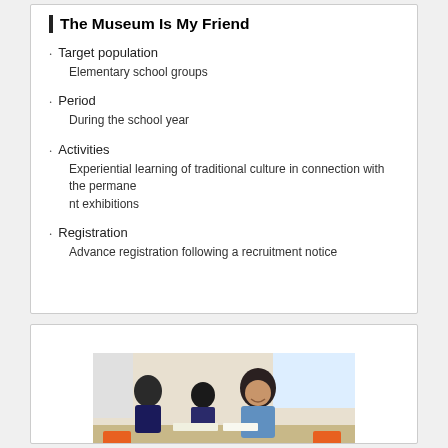The Museum Is My Friend
Target population
Elementary school groups
Period
During the school year
Activities
Experiential learning of traditional culture in connection with the permanent exhibitions
Registration
Advance registration following a recruitment notice
[Figure (photo): Students in a classroom setting, smiling and engaged in learning activities]